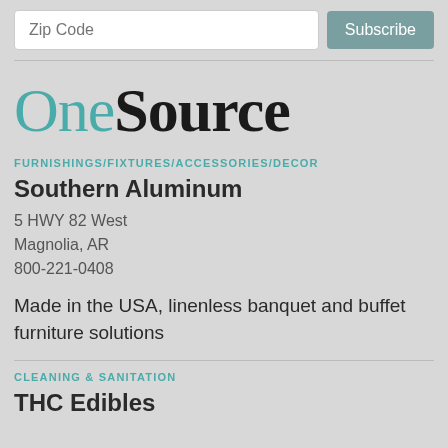Zip Code | Subscribe
[Figure (logo): OneSource logo with 'One' in teal and 'Source' in black bold serif font]
FURNISHINGS/FIXTURES/ACCESSORIES/DECOR
Southern Aluminum
5 HWY 82 West
Magnolia, AR
800-221-0408
Made in the USA, linenless banquet and buffet furniture solutions
CLEANING & SANITATION
THC Edibles